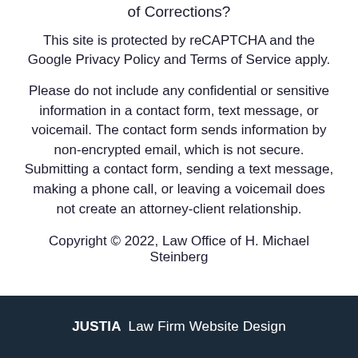of Corrections?
This site is protected by reCAPTCHA and the Google Privacy Policy and Terms of Service apply.
Please do not include any confidential or sensitive information in a contact form, text message, or voicemail. The contact form sends information by non-encrypted email, which is not secure. Submitting a contact form, sending a text message, making a phone call, or leaving a voicemail does not create an attorney-client relationship.
Copyright © 2022, Law Office of H. Michael Steinberg
JUSTIA Law Firm Website Design